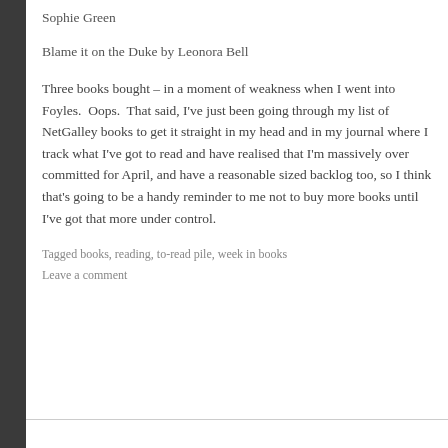Sophie Green
Blame it on the Duke by Leonora Bell
Three books bought – in a moment of weakness when I went into Foyles.  Oops.  That said, I've just been going through my list of NetGalley books to get it straight in my head and in my journal where I track what I've got to read and have realised that I'm massively over committed for April, and have a reasonable sized backlog too, so I think that's going to be a handy reminder to me not to buy more books until I've got that more under control.
Tagged books, reading, to-read pile, week in books
Leave a comment